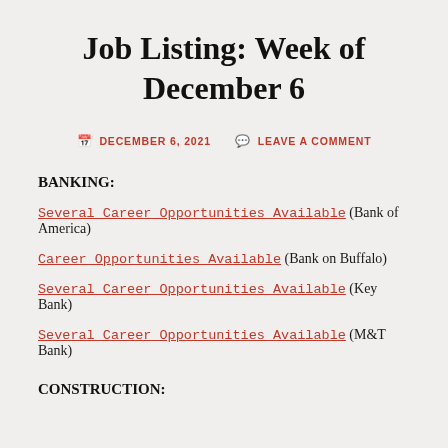Job Listing: Week of December 6
DECEMBER 6, 2021  LEAVE A COMMENT
BANKING:
Several Career Opportunities Available (Bank of America)
Career Opportunities Available (Bank on Buffalo)
Several Career Opportunities Available (Key Bank)
Several Career Opportunities Available (M&T Bank)
CONSTRUCTION: